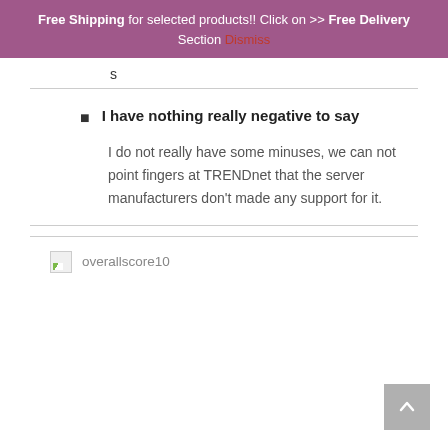Free Shipping for selected products!! Click on >> Free Delivery Section Dismiss
s
I have nothing really negative to say
I do not really have some minuses, we can not point fingers at TRENDnet that the server manufacturers don't made any support for it.
[Figure (other): Broken image placeholder next to overallscore10 text label]
overallscore10